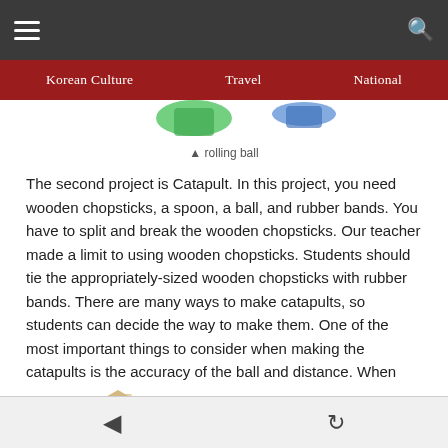Korean Culture   Travel   National
▲ rolling ball
The second project is Catapult. In this project, you need wooden chopsticks, a spoon, a ball, and rubber bands. You have to split and break the wooden chopsticks. Our teacher made a limit to using wooden chopsticks. Students should tie the appropriately-sized wooden chopsticks with rubber bands. There are many ways to make catapults, so students can decide the way to make them. One of the most important things to consider when making the catapults is the accuracy of the ball and distance. When students are done making their teams' catapult, they should shoot the balls with the use of their catapults to the paper cups. The team that shoots the most balls to the paper cups wins a prize.
[Figure (illustration): Partial view of catapult or related project illustrations at bottom of page]
◀  ↺